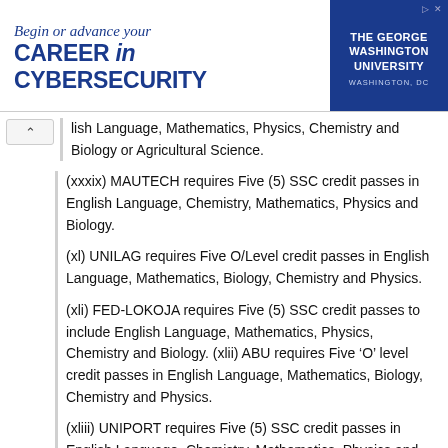[Figure (other): Advertisement banner for The George Washington University: 'Begin or advance your CAREER in CYBERSECURITY', Washington, DC]
lish Language, Mathematics, Physics, Chemistry and Biology or Agricultural Science.
(xxxix) MAUTECH requires Five (5) SSC credit passes in English Language, Chemistry, Mathematics, Physics and Biology.
(xl) UNILAG requires Five O/Level credit passes in English Language, Mathematics, Biology, Chemistry and Physics.
(xli) FED-LOKOJA requires Five (5) SSC credit passes to include English Language, Mathematics, Physics, Chemistry and Biology. (xlii) ABU requires Five ‘O’ level credit passes in English Language, Mathematics, Biology, Chemistry and Physics.
(xliii) UNIPORT requires Five (5) SSC credit passes in English Language, Chemistry, Mathematics, Physics and...